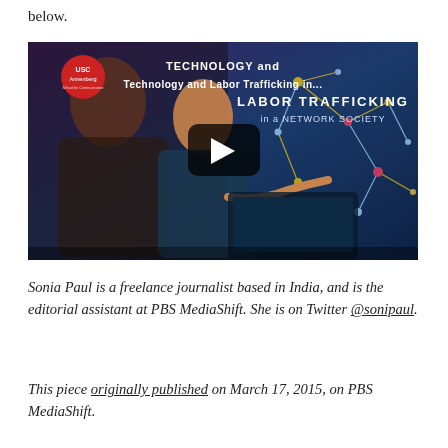below.
[Figure (screenshot): YouTube video thumbnail for 'Technology and Labor Trafficking in...' featuring USC Annenberg branding, two people looking at a laptop, with text 'TECHNOLOGY and LABOR TRAFFICKING in a NETWORK SOCIETY' overlaid and a play button in the center.]
Sonia Paul is a freelance journalist based in India, and is the editorial assistant at PBS MediaShift. She is on Twitter @sonipaul.
This piece originally published on March 17, 2015, on PBS MediaShift.